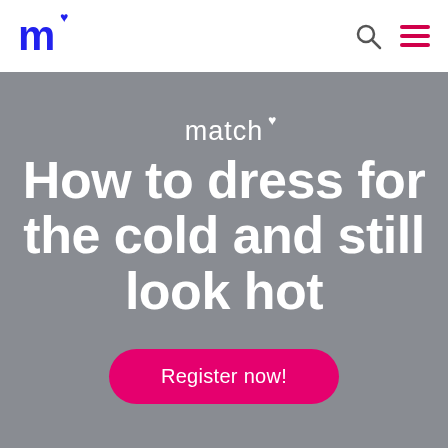match♥ [logo] [search icon] [hamburger menu]
[Figure (logo): Match.com logo with stylized lowercase m and blue heart, on white navigation bar with search and hamburger icons]
match♥
How to dress for the cold and still look hot
Register now!